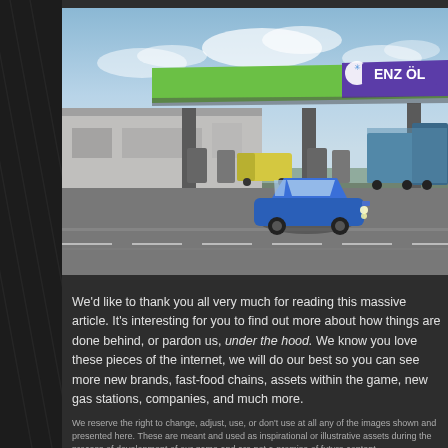[Figure (screenshot): 3D rendered image of an ENZ ÖL branded gas station with a green and purple canopy, showing vehicles including a blue car in foreground, a truck, and a van, with a service station building in the background.]
We'd like to thank you all very much for reading this massive article. It's interesting for you to find out more about how things are done behind, or pardon us, under the hood. We know you love these pieces of the internet, we will do our best so you can see more new brands, fast-food chains, assets within the game, new gas stations, companies, and much more.
We reserve the right to change, adjust, use, or don't use at all any of the images shown and presented here. These are meant and used as inspirational or illustrative assets during the process of development of our game and are not a promise of future content.